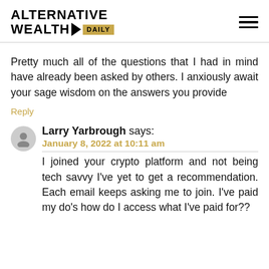ALTERNATIVE WEALTH DAILY
Pretty much all of the questions that I had in mind have already been asked by others. I anxiously await your sage wisdom on the answers you provide
Reply
Larry Yarbrough says:
January 8, 2022 at 10:11 am
I joined your crypto platform and not being tech savvy I've yet to get a recommendation. Each email keeps asking me to join. I've paid my do's how do I access what I've paid for??